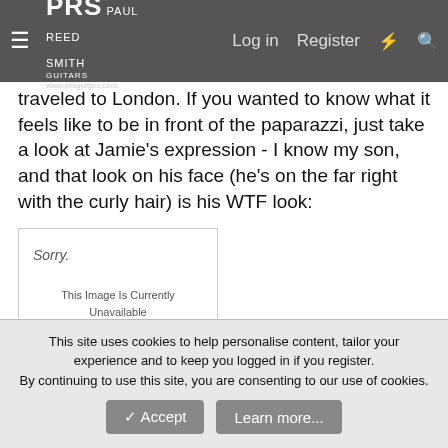PRS Paul Reed Smith Guitars — www.prsguitars.com | Log in | Register
traveled to London. If you wanted to know what it feels like to be in front of the paparazzi, just take a look at Jamie's expression - I know my son, and that look on his face (he's on the far right with the curly hair) is his WTF look:
[Figure (other): Photobucket image placeholder showing 'Sorry. This Image Is Currently Unavailable' with photobucket logo at bottom]
They also did some flashmob shows in London's Soho district, and the crowds were pretty big. Understandable, as the record is #1 in the UK already (Jamie is playing acoustic next to Jared
This site uses cookies to help personalise content, tailor your experience and to keep you logged in if you register.
By continuing to use this site, you are consenting to our use of cookies.
Accept   Learn more...